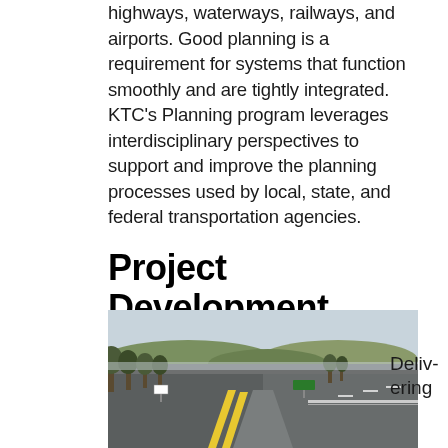highways, waterways, railways, and airports. Good planning is a requirement for systems that function smoothly and are tightly integrated. KTC's Planning program leverages interdisciplinary perspectives to support and improve the planning processes used by local, state, and federal transportation agencies.
Project Development
[Figure (photo): Aerial view of a divided highway with yellow center markings, surrounded by bare winter trees, farmland, and rolling hills in the background. A green highway sign is visible in the distance.]
Delivering